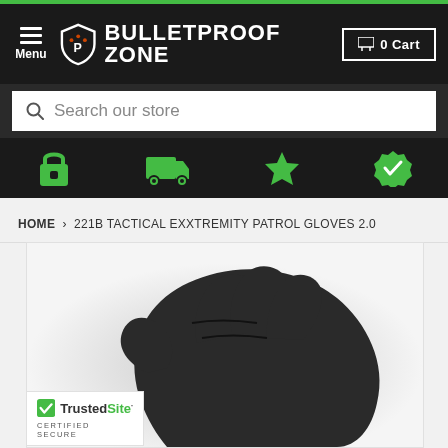Menu | BULLETPROOF ZONE | 0 Cart
Search our store
[Figure (infographic): Four green icons: padlock, delivery truck, star, verified badge]
HOME › 221B TACTICAL EXXTREMITY PATROL GLOVES 2.0
[Figure (photo): Close-up photo of black tactical gloves against white background]
[Figure (logo): TrustedSite CERTIFIED SECURE badge with green checkmark]